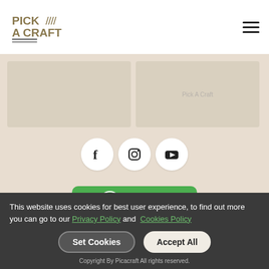Pick A Craft — navigation header with logo and hamburger menu
[Figure (screenshot): Faded product card thumbnails in beige/tan background area]
[Figure (infographic): Social media icons: Facebook, Instagram, YouTube — white circular buttons on beige background]
[Figure (infographic): LINE app QR code card with green background, LINE logo, PickACraft label, and QR code]
This website uses cookies for best user experience, to find out more you can go to our Privacy Policy and Cookies Policy
Set Cookies   Accept All
Copyright By Picacraft All rights reserved.